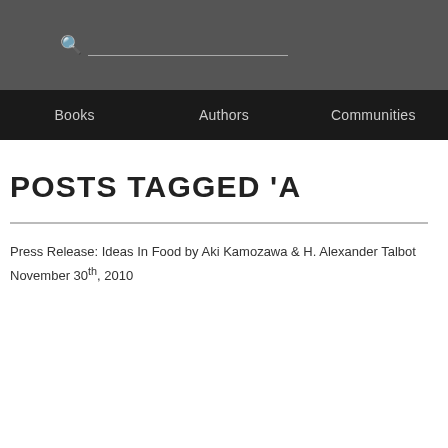Search bar with magnifying glass icon
Books | Authors | Communities
POSTS TAGGED 'A
Press Release: Ideas In Food by Aki Kamozawa & H. Alexander Talbot
November 30th, 2010